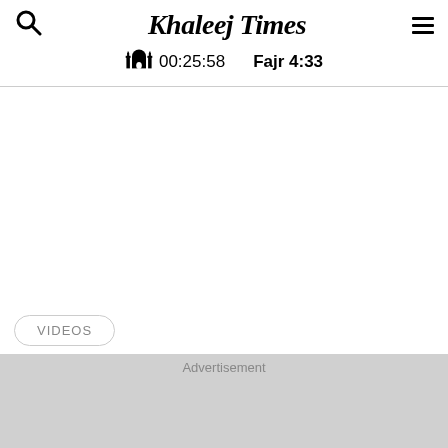Khaleej Times — 00:25:58  Fajr 4:33
VIDEOS
Advertisement